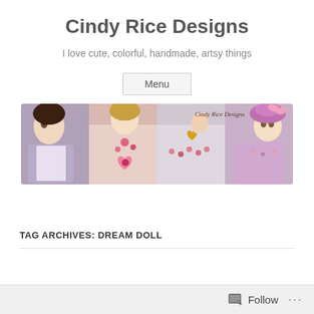Cindy Rice Designs
I love cute, colorful, handmade, artsy things
Menu
[Figure (photo): Banner image showing handmade dolls with embroidered clothing and hats in pink, lavender, and pastel colors. Text 'Cindy Rice Designs' in top right corner.]
TAG ARCHIVES: DREAM DOLL
Follow ...